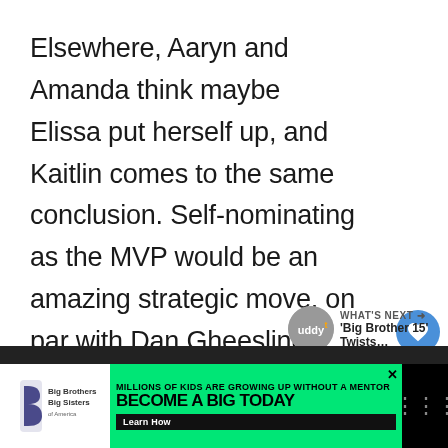Elsewhere, Aaryn and Amanda think maybe Elissa put herself up, and Kaitlin comes to the same conclusion. Self-nominating as the MVP would be an amazing strategic move, on par with Dan Gheesling's funeral, but come on, people. Elissa is NOT on that level. This isn't act because she's not that good of an actress. I'm shocked they're even willing to give her that much credit.
[Figure (other): Advertisement banner for Big Brothers Big Sisters: 'Millions of kids are growing up without a mentor. Become a Big Today.' with Learn How button.]